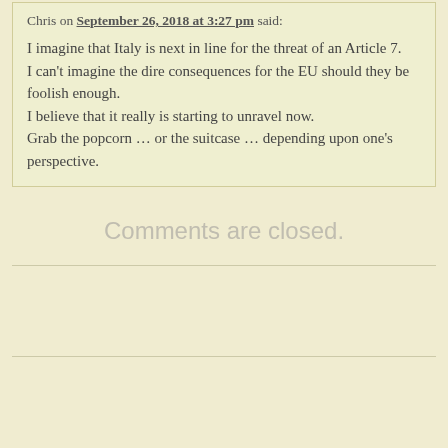Chris on September 26, 2018 at 3:27 pm said:
I imagine that Italy is next in line for the threat of an Article 7.
I can't imagine the dire consequences for the EU should they be foolish enough.
I believe that it really is starting to unravel now.
Grab the popcorn … or the suitcase … depending upon one's perspective.
Comments are closed.